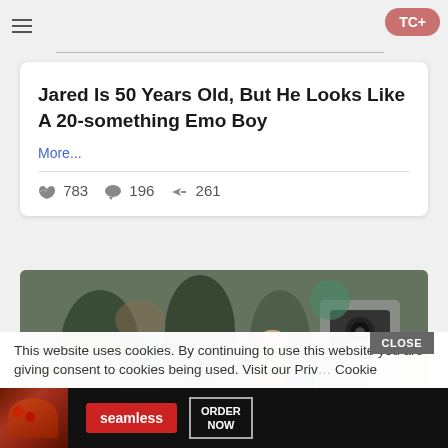[Figure (screenshot): Bloomingdales advertisement banner with woman in black hat. Text: bloomingdales, View Today's Top Deals!, SHOP NOW >]
Jared Is 50 Years Old, But He Looks Like A 20-something Emo Boy
More...
783  196  261
[Figure (photo): People at an event, someone holding a camera and phone photographing a small dog]
This website uses cookies. By continuing to use this website you are giving consent to cookies being used. Visit our Priv... Cookie
[Figure (screenshot): Seamless food delivery advertisement. Text: seamless, ORDER NOW. Shows pizza image.]